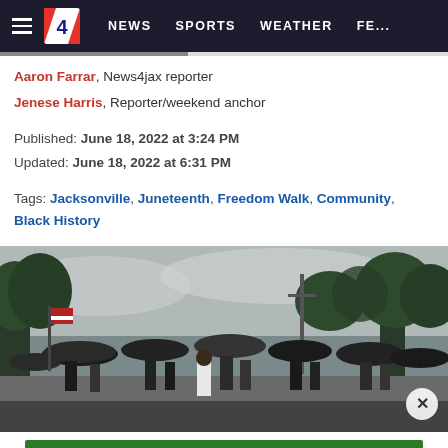News4Jax navigation bar with hamburger menu, Channel 4 logo, NEWS, SPORTS, WEATHER, FE...
Aaron Farrar, News4jax reporter
Jenese Harris, Reporter/weekend anchor
Published: June 18, 2022 at 3:24 PM
Updated: June 18, 2022 at 6:31 PM
Tags: Jacksonville, Juneteenth, Freedom Walk, Community, Black History
[Figure (photo): Crowd of people walking down a street holding umbrellas, viewed from behind. Trees and overcast sky in background. Appears to be a Juneteenth Freedom Walk event.]
[Figure (other): Papa John's advertisement banner: PAPA BOWLS $7.99 ORDER NOW on green background]